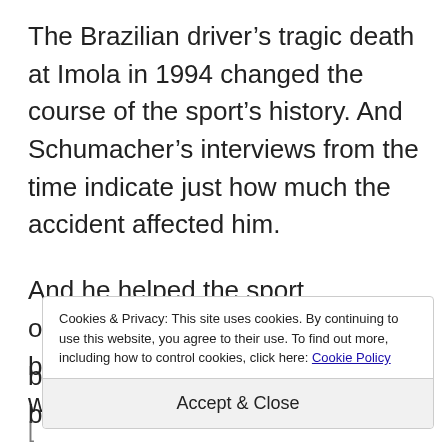The Brazilian driver's tragic death at Imola in 1994 changed the course of the sport's history. And Schumacher's interviews from the time indicate just how much the accident affected him.
And he helped the sport overcome the tragedy by rising to become its next superstar, winning two titles with Benetton b... b...
Cookies & Privacy: This site uses cookies. By continuing to use this website, you agree to their use. To find out more, including how to control cookies, click here: Cookie Policy
Accept & Close